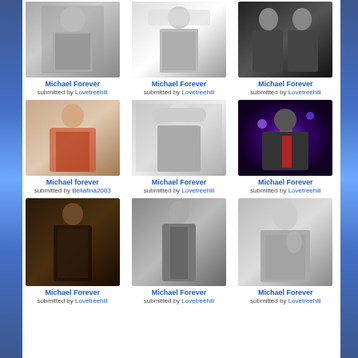[Figure (photo): Michael Jackson in sparkly jacket, black and white photo]
Michael Forever
submitted by Lovetreehill
[Figure (photo): Michael Jackson in white suit and hat, black and white photo]
Michael Forever
submitted by Lovetreehill
[Figure (photo): Two people on stage, dark background]
Michael Forever
submitted by Lovetreehill
[Figure (photo): Michael Jackson in red jacket, color photo]
Michael forever
submitted by Bellafina2003
[Figure (photo): Michael Jackson in white suit and hat, black and white studio photo]
Michael Forever
submitted by Lovetreehill
[Figure (photo): Michael Jackson performing on stage with purple lights]
Michael Forever
submitted by Lovetreehill
[Figure (photo): Michael Jackson in dark suit standing]
Michael Forever
submitted by Lovetreehill
[Figure (photo): Michael Jackson posing in dark outfit]
Michael Forever
submitted by Lovetreehill
[Figure (photo): Young Michael Jackson smiling, black and white photo]
Michael Forever
submitted by Lovetreehill